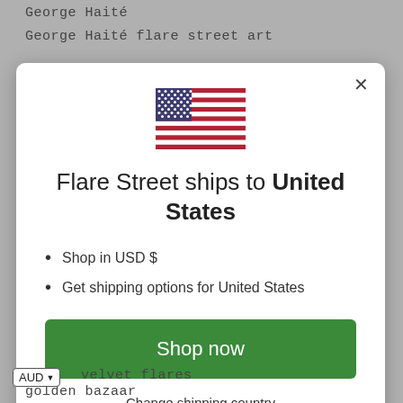George Haité
George Haité flare street art
[Figure (screenshot): Modal dialog with US flag, shipping info for United States, bullet points, and Shop now button]
velvet flares
golden bazaar